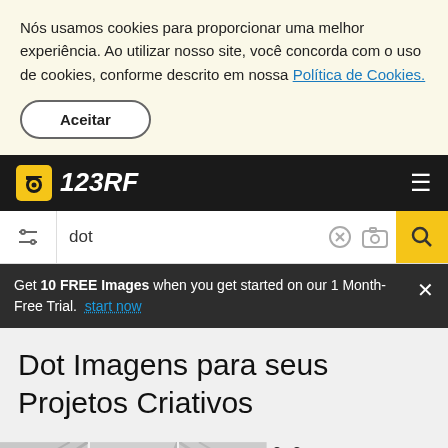Nós usamos cookies para proporcionar uma melhor experiência. Ao utilizar nosso site, você concorda com o uso de cookies, conforme descrito em nossa Política de Cookies.
Aceitar
[Figure (logo): 123RF logo with camera icon on dark navbar, with hamburger menu icon]
dot
Get 10 FREE Images when you get started on our 1 Month-Free Trial. start now
Dot Imagens para seus Projetos Criativos
[Figure (photo): Partial strip of dot/pattern stock images at bottom of page]